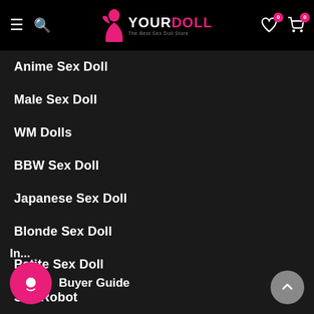YOURDOLL — The Best Sex Doll Store
Anime Sex Doll
Male Sex Doll
WM Dolls
BBW Sex Doll
Japanese Sex Doll
Blonde Sex Doll
Petite Sex Doll
Sex Robot
In...
Buyer Guide